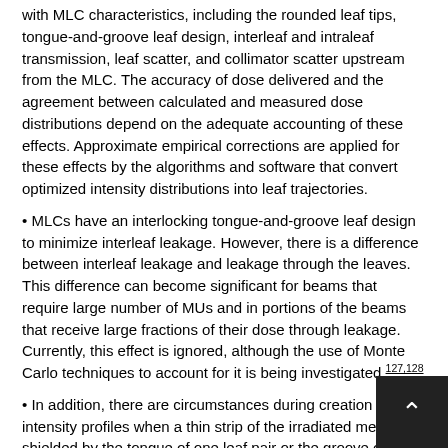with MLC characteristics, including the rounded leaf tips, tongue-and-groove leaf design, interleaf and intraleaf transmission, leaf scatter, and collimator scatter upstream from the MLC. The accuracy of dose delivered and the agreement between calculated and measured dose distributions depend on the adequate accounting of these effects. Approximate empirical corrections are applied for these effects by the algorithms and software that convert optimized intensity distributions into leaf trajectories.
• MLCs have an interlocking tongue-and-groove leaf design to minimize interleaf leakage. However, there is a difference between interleaf leakage and leakage through the leaves. This difference can become significant for beams that require large number of MUs and in portions of the beams that receive large fractions of their dose through leakage. Currently, this effect is ignored, although the use of Monte Carlo techniques to account for it is being investigated.127,128
• In addition, there are circumstances during creation of intensity profiles when a thin strip of the irradiated medium is shielded by the tongue of one leaf pair or the groove of the adjacent leaf pair rather than being completely exposed or completely blocked. van S... and Heijmen41 demonstrated that this leads to an underdosa... thin strip. They, and subsequently Webb et al.,46 also showed that this effect...